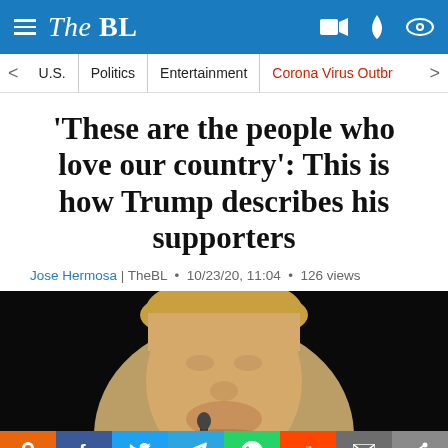The BL
U.S. | Politics | Entertainment | Corona Virus Outbr
'These are the people who love our country': This is how Trump describes his supporters
Jose Hermosa | TheBL  •  10/23/20, 11:04  •  126 views
[Figure (photo): Photo of Donald Trump against a dark background, facing slightly left]
[Figure (infographic): Social sharing bar with buttons: pin (orange), Facebook (blue), Twitter (blue), Telegram (blue), WhatsApp (green), Reddit (red), email (gray), share (light gray)]